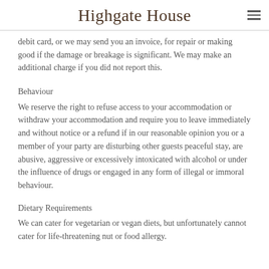Highgate House
debit card, or we may send you an invoice, for repair or making good if the damage or breakage is significant. We may make an additional charge if you did not report this.
Behaviour
We reserve the right to refuse access to your accommodation or withdraw your accommodation and require you to leave immediately and without notice or a refund if in our reasonable opinion you or a member of your party are disturbing other guests peaceful stay, are abusive, aggressive or excessively intoxicated with alcohol or under the influence of drugs or engaged in any form of illegal or immoral behaviour.
Dietary Requirements
We can cater for vegetarian or vegan diets, but unfortunately cannot cater for life-threatening nut or food allergy.